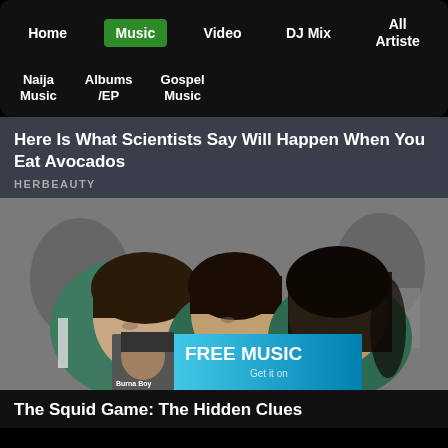Home | Music | Video | DJ Mix | All Artiste
Naija Music | Albums /EP | Gospel Music
Here Is What Scientists Say Will Happen When You Eat Avocados
HERBEAUTY
[Figure (photo): Three young Asian people in teal/green athletic jackets huddled together looking downward, black and white photo]
[Figure (infographic): FREE MUSIC banner with album thumbnail on left (Burna Boy) and blue gradient background with text FREE MUSIC and Get it on]
The Squid Game: The Hidden Clues